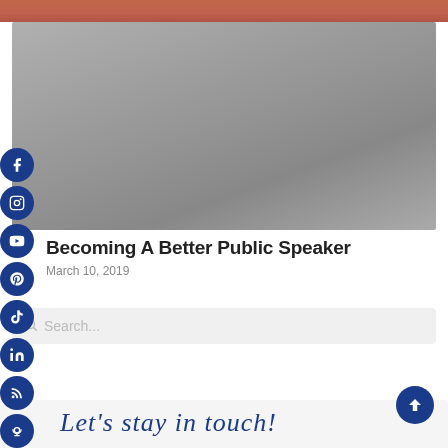[Figure (photo): Top reddish-orange image strip, partially cropped photograph]
[Figure (photo): Large gray/silver rectangle representing a video or image embed area]
Becoming A Better Public Speaker
March 10, 2019
Search...
Let's stay in touch!